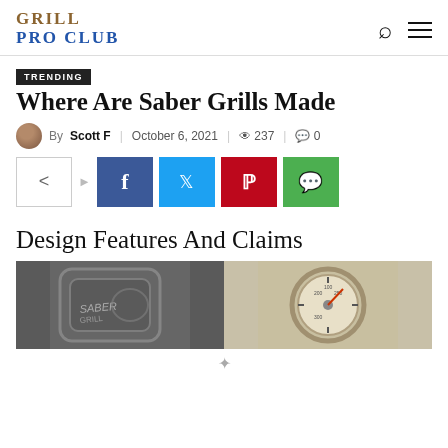GRILL PRO CLUB
TRENDING
Where Are Saber Grills Made
By Scott F | October 6, 2021 | 237 | 0
[Figure (infographic): Social share buttons: share icon, Facebook, Twitter, Pinterest, WhatsApp]
Design Features And Claims
[Figure (photo): Two side-by-side photos: left shows a Saber grill logo/temperature gauge closeup with metallic detail, right shows a circular temperature gauge dial with markings]